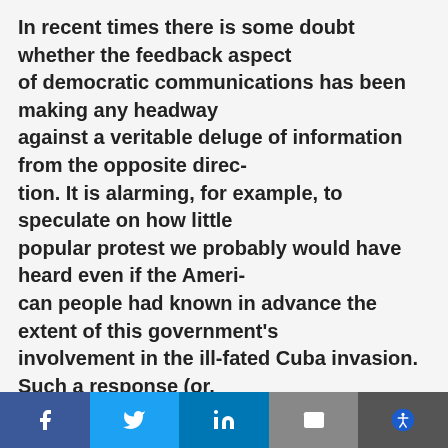In recent times there is some doubt whether the feedback aspect of democratic communications has been making any headway against a veritable deluge of information from the opposite direction. It is alarming, for example, to speculate on how little popular protest we probably would have heard even if the American people had known in advance the extent of this government's involvement in the ill-fated Cuba invasion. Such a response (or, more precisely, lack of one) would probably have been due less to unflinching support of administration decis
Share bar with Facebook, Twitter, LinkedIn, Email, Accessibility buttons